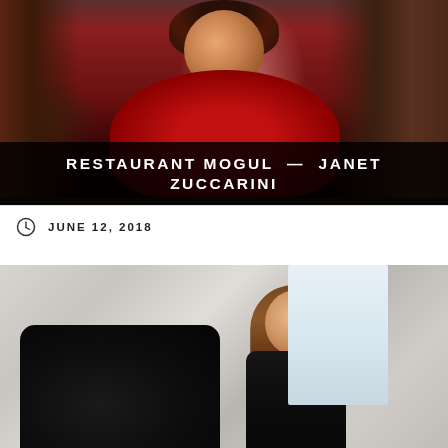[Figure (photo): Portrait photo of Janet Zuccarini, a woman with dark hair wearing a red floral dress, standing in front of wooden stairs]
RESTAURANT MOGUL — JANET ZUCCARINI
JUNE 12, 2018
[Figure (photo): Portrait photo of a smiling woman with long light brown hair wearing a black outfit, seated at a black office chair in a bright office setting]